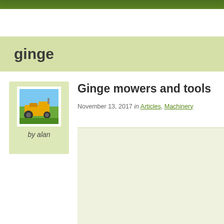ginge
Ginge mowers and tools
November 13, 2017 in Articles, Machinery
[Figure (photo): Yellow garden tractor/mower on grass, thumbnail image]
by alan